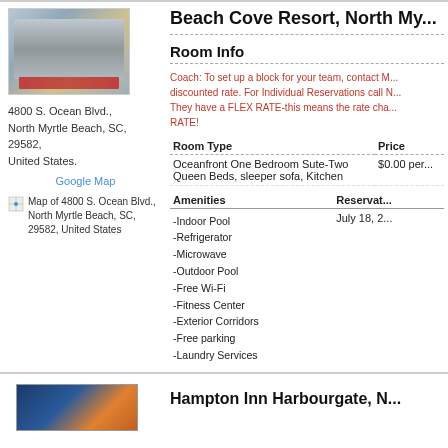[Figure (photo): Hotel building exterior photo for Beach Cove Resort]
4800 S. Ocean Blvd., North Myrtle Beach, SC, 29582, United States.
Google Map
Map of 4800 S. Ocean Blvd., North Myrtle Beach, SC, 29582, United States
Beach Cove Resort, North My...
Room Info
Coach: To set up a block for your team, contact M... discounted rate. For Individual Reservations call N... They have a FLEX RATE-this means the rate cha... RATE!
| Room Type | Price |
| --- | --- |
| Oceanfront One Bedroom Sute-Two Queen Beds, sleeper sofa, Kitchen | $0.00 per... |
| Amenities | Reservat... |
| --- | --- |
| -Indoor Pool
-Refrigerator
-Microwave
-Outdoor Pool
-Free Wi-Fi
-Fitness Center
-Exterior Corridors
-Free parking
-Laundry Services | July 18, 2... |
[Figure (photo): Hampton Inn Harbourgate exterior photo]
Hampton Inn Harbourgate, N...